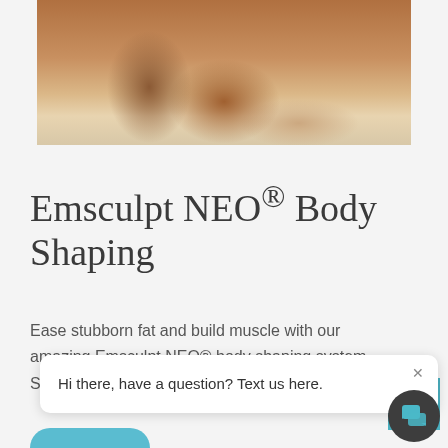[Figure (photo): Person doing push-ups outdoors, muscular torso and arms visible, sandy surface below]
Emsculpt NEO® Body Shaping
Ease stubborn fat and build muscle with our amazing Emsculpt NEO® body shaping system. Schedule a consultation in
[Figure (other): Chat popup bubble with text 'Hi there, have a question? Text us here.' and a close X button, alongside a dark circular chat icon with speech bubble icon and a teal scroll-to-top arrow button]